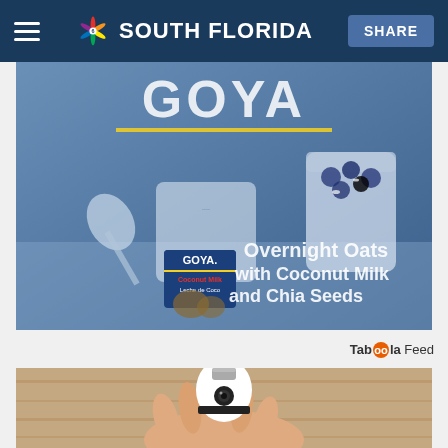NBC 6 South Florida — SHARE
[Figure (photo): Goya Overnight Oats with Coconut Milk and Chia Seeds advertisement showing a can of Goya Coconut Milk (Leche de Coco), a jar of overnight oats with blueberries, a spoon, and the Goya logo at the top. Text reads: 'Overnight Oats with Coconut Milk and Chia Seeds']
Taboola Feed
[Figure (photo): A hand holding a white smart light bulb / security camera device with a black band, photographed against a wooden wall background.]